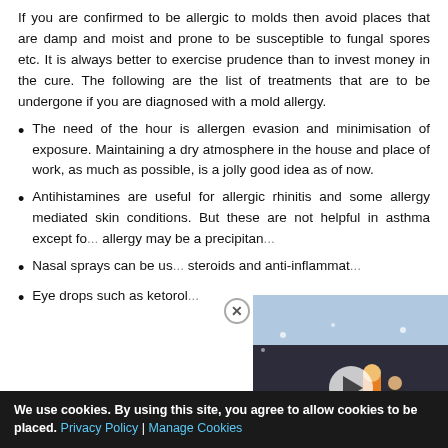If you are confirmed to be allergic to molds then avoid places that are damp and moist and prone to be susceptible to fungal spores etc. It is always better to exercise prudence than to invest money in the cure. The following are the list of treatments that are to be undergone if you are diagnosed with a mold allergy.
The need of the hour is allergen evasion and minimisation of exposure. Maintaining a dry atmosphere in the house and place of work, as much as possible, is a jolly good idea as of now.
Antihistamines are useful for allergic rhinitis and some allergy mediated skin conditions. But these are not helpful in asthma except fo... allergy may be a precipitan...
Nasal sprays can be us... steroids and anti-inflammat...
Eye drops such as ketorol...
[Figure (screenshot): Video thumbnail overlay showing people on stairs at a red carpet event, with a play button in the center and a close (X) button]
We use cookies. By using this site, you agree to allow cookies to be placed. Privacy Policy | Manage Cookies